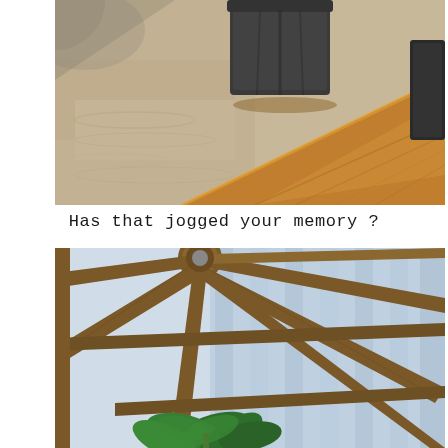[Figure (photo): Close-up photo of a wooden table surface with a dark plastic plant pot sitting on it, sandy ground visible in the background to the left, and another dark object partially visible on the right edge.]
Has that jogged your memory ?
[Figure (photo): Interior photo of a greenhouse or polytunnel showing radiating wooden beam structure from a central hub, with corrugated translucent panels forming the walls and a green leafy plant visible at the bottom center.]